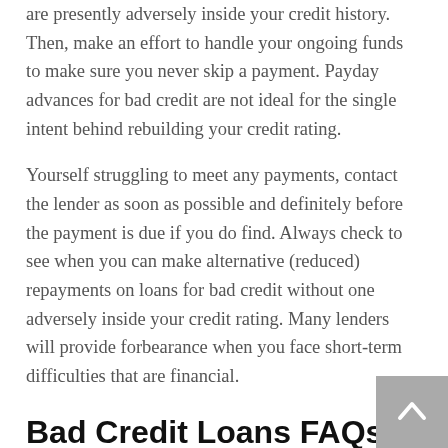are presently adversely inside your credit history. Then, make an effort to handle your ongoing funds to make sure you never skip a payment. Payday advances for bad credit are not ideal for the single intent behind rebuilding your credit rating.
Yourself struggling to meet any payments, contact the lender as soon as possible and definitely before the payment is due if you do find. Always check to see when you can make alternative (reduced) repayments on loans for bad credit without one adversely inside your credit rating. Many lenders will provide forbearance when you face short-term difficulties that are financial.
Bad Credit Loans FAQs
Will my application for the credit that is bad influence by